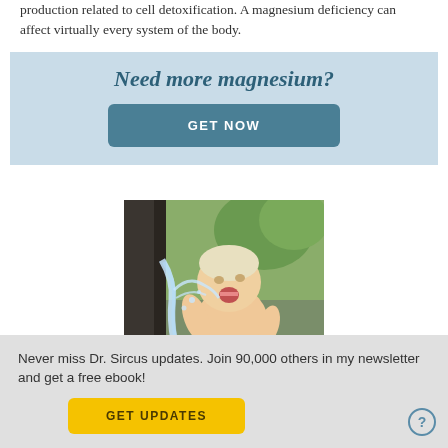production related to cell detoxification. A magnesium deficiency can affect virtually every system of the body.
Need more magnesium?
GET NOW
[Figure (photo): A baby/toddler drinking from an outdoor water spigot or fountain, water splashing on the child's face and chest, outdoors with trees in the background.]
Never miss Dr. Sircus updates. Join 90,000 others in my newsletter and get a free ebook!
GET UPDATES